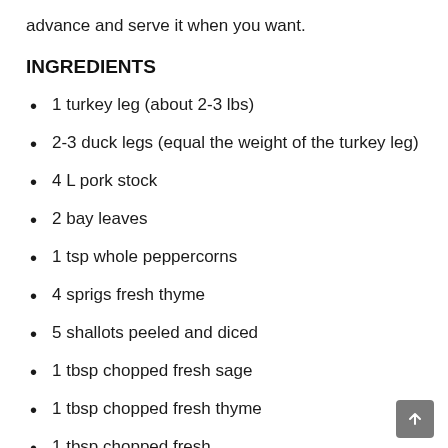advance and serve it when you want.
INGREDIENTS
1 turkey leg (about 2-3 lbs)
2-3 duck legs (equal the weight of the turkey leg)
4 L pork stock
2 bay leaves
1 tsp whole peppercorns
4 sprigs fresh thyme
5 shallots peeled and diced
1 tbsp chopped fresh sage
1 tbsp chopped fresh thyme
1 tbsp chopped fresh ...